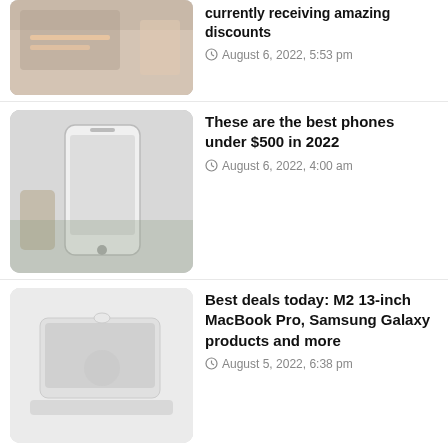currently receiving amazing discounts – August 6, 2022, 5:53 pm
These are the best phones under $500 in 2022 – August 6, 2022, 4:00 am
Best deals today: M2 13-inch MacBook Pro, Samsung Galaxy products and more – August 5, 2022, 6:38 pm
Best Buy's anniversary sales event will get you amazing deals on tons of excellent products – August 5, 2022, 3:56 pm
OxygenOS 13: All new features and supported devices – August 5, 2022, 10:45 am
These are the best gaming phones in 2022 so far – August 5, 2022, 7:00 am